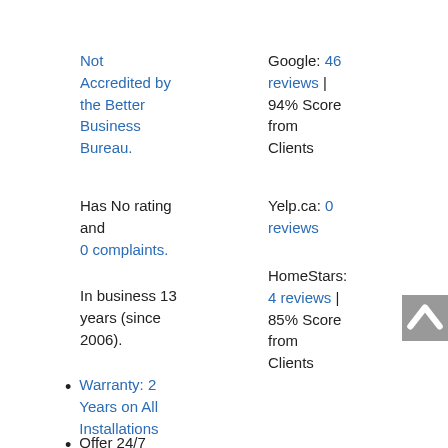Not Accredited by the Better Business Bureau.
Google: 46 reviews | 94% Score from Clients
Has No rating and 0 complaints.
Yelp.ca: 0 reviews
In business 13 years (since 2006).
HomeStars: 4 reviews | 85% Score from Clients
Warranty: 2 Years on All Installations
Offer 24/7